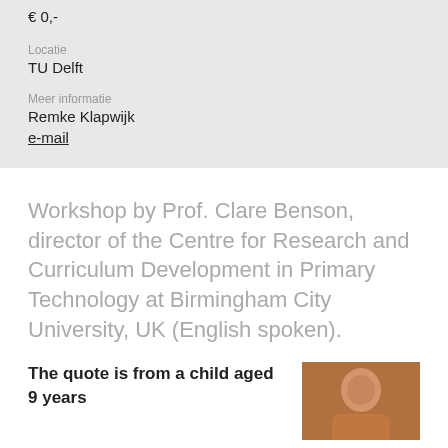€ 0,-
Locatie
TU Delft
Meer informatie
Remke Klapwijk
e-mail
Workshop by Prof. Clare Benson, director of the Centre for Research and Curriculum Development in Primary Technology at Birmingham City University, UK (English spoken).
The quote is from a child aged 9 years
[Figure (photo): Photo of a person (Prof. Clare Benson or related individual), color portrait thumbnail]